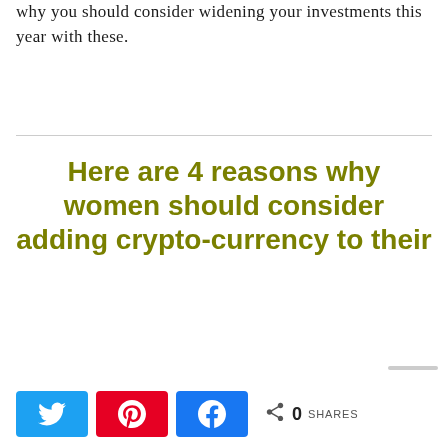why you should consider widening your investments this year with these.
Here are 4 reasons why women should consider adding crypto-currency to their
[Figure (infographic): Social share bar with Twitter, Pinterest, and Facebook share buttons, a share icon, count of 0, and SHARES label]